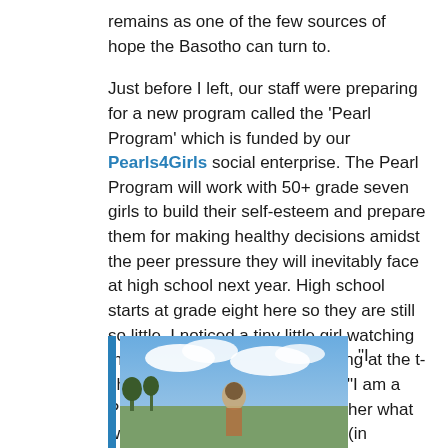remains as one of the few sources of hope the Basotho can turn to.

Just before I left, our staff were preparing for a new program called the ‘Pearl Program’ which is funded by our Pearls4Girls social enterprise. The Pearl Program will work with 50+ grade seven girls to build their self-esteem and prepare them for making healthy decisions amidst the peer pressure they will inevitably face at high school next year. High school starts at grade eight here so they are still so little. I noticed a tiny little girl watching the preparations. She kept staring at the t-shirts with pink writing that said “I am a Pearl Girl”! One of our staff told her what was happening and she replied (in Sesotho),
[Figure (photo): A photo showing a person outdoors against a sky with clouds and green landscape.]
“I